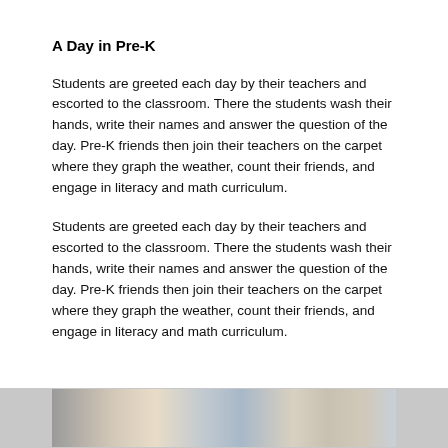A Day in Pre-K
Students are greeted each day by their teachers and escorted to the classroom. There the students wash their hands, write their names and answer the question of the day. Pre-K friends then join their teachers on the carpet where they graph the weather, count their friends, and engage in literacy and math curriculum.
Students are greeted each day by their teachers and escorted to the classroom. There the students wash their hands, write their names and answer the question of the day. Pre-K friends then join their teachers on the carpet where they graph the weather, count their friends, and engage in literacy and math curriculum.
[Figure (photo): A partial photo strip visible at the bottom of the page showing classroom or educational materials.]